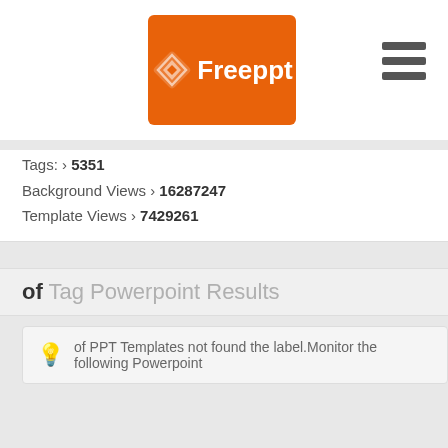[Figure (logo): FreePPT logo — orange rounded rectangle with diamond icon and white bold text 'Freeppt']
Tags: › 5351
Background Views › 16287247
Template Views › 7429261
of Tag Powerpoint Results
of PPT Templates not found the label.Monitor the following Powerpoint